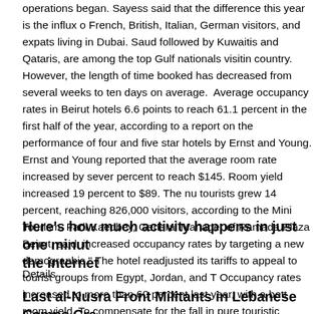operations began. Sayess said that the difference this year is the influx of French, British, Italian, German visitors, and expats living in Dubai. Saudi, followed by Kuwaitis and Qataris, are among the top Gulf nationals visiting the country. However, the length of time booked has decreased from several weeks to ten days on average. Average occupancy rates in Beirut hotels rose 6.6 points to reach 61.1 percent in the first half of the year, according to a report on the performance of four and five star hotels by Ernst and Young. Ernst and Young reported that the average room rate increased by seven percent to reach $145. Room yield increased 19 percent to $89. The number of tourists grew 14 percent, reaching 826,000 visitors, according to the Ministry of Tourism. Fadi Kaedbey, General Manager of Ramada Plaza Beirut, said: "We increased occupancy rates by targeting a new demographic." The hotel readjusted its tariffs to appeal to tourist groups from Egypt, Jordan, and Tunisia. Occupancy rates increased to more than 60 percent last year, with a better room yield. To compensate for the fall in pure touristic activity, hotels are implementing other strategies such as creating additional food and beverage outlets, and targeting the conference and meeting (MICE) business.
Here's how much activity happens in just one minute on the internet
Details
Last al-Nusra Front Militants in Lebanese Camps Crossed Back Into Syria